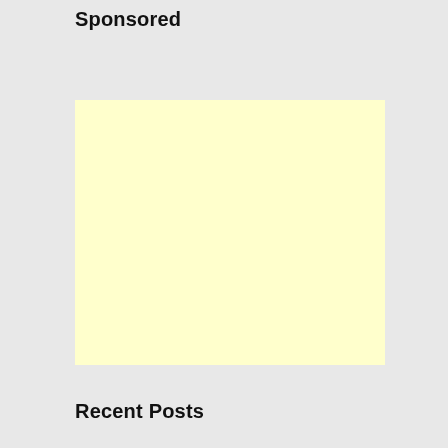Sponsored
[Figure (other): Yellow/light cream colored advertisement placeholder box]
Recent Posts